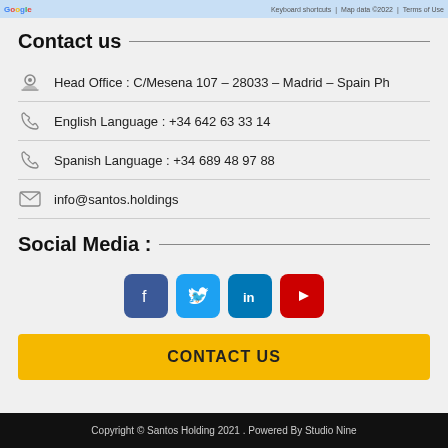[Figure (screenshot): Google Maps bar with logo, keyboard shortcuts, map data copyright 2022, terms of use]
Contact us
Head Office : C/Mesena 107 – 28033 – Madrid – Spain Ph
English Language : +34 642 63 33 14
Spanish Language : +34 689 48 97 88
info@santos.holdings
Social Media :
[Figure (infographic): Social media icons: Facebook, Twitter, LinkedIn, YouTube]
CONTACT US
Copyright © Santos Holding 2021 . Powered By Studio Nine